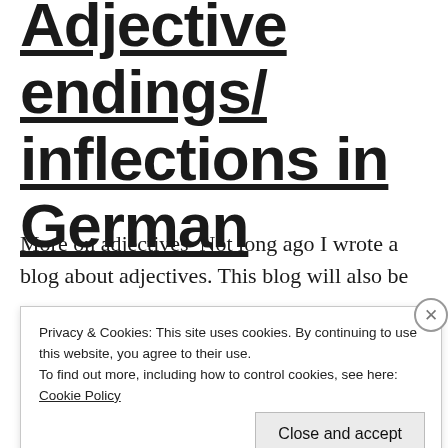Adjective endings/ inflections in German
More on adjectives  Not long ago I wrote a blog about adjectives. This blog will also be
Privacy & Cookies: This site uses cookies. By continuing to use this website, you agree to their use.
To find out more, including how to control cookies, see here: Cookie Policy
Close and accept